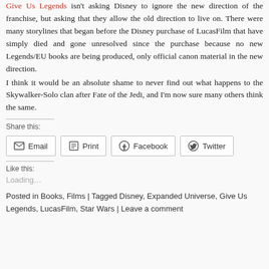Give Us Legends isn't asking Disney to ignore the new direction of the franchise, but asking that they allow the old direction to live on. There were many storylines that began before the Disney purchase of LucasFilm that have simply died and gone unresolved since the purchase because no new Legends/EU books are being produced, only official canon material in the new direction. I think it would be an absolute shame to never find out what happens to the Skywalker-Solo clan after Fate of the Jedi, and I'm now sure many others think the same.
Share this:
Email | Print | Facebook | Twitter
Like this:
Loading...
Posted in Books, Films | Tagged Disney, Expanded Universe, Give Us Legends, LucasFilm, Star Wars | Leave a comment